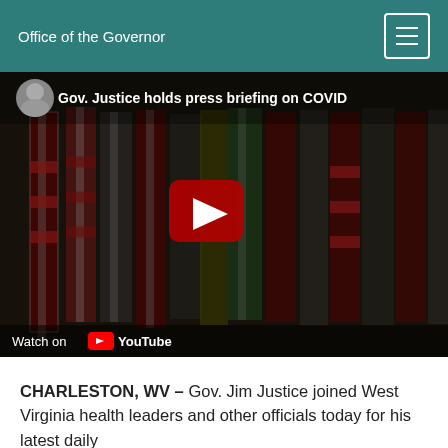Office of the Governor
[Figure (screenshot): YouTube video thumbnail showing Gov. Justice holds press briefing on COVID, with flags in background and red play button. Watch on YouTube shown at bottom.]
CHARLESTON, WV – Gov. Jim Justice joined West Virginia health leaders and other officials today for his latest daily